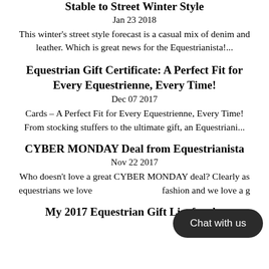Stable to Street Winter Style
Jan 23 2018
This winter's street style forecast is a casual mix of denim and leather. Which is great news for the Equestrianista!...
Equestrian Gift Certificate: A Perfect Fit for Every Equestrienne, Every Time!
Dec 07 2017
Cards – A Perfect Fit for Every Equestrienne, Every Time! From stocking stuffers to the ultimate gift, an Equestriani...
CYBER MONDAY Deal from Equestrianista
Nov 22 2017
Who doesn't love a great CYBER MONDAY deal? Clearly as equestrians we love fashion and we love a g…
My 2017 Equestrian Gift List for the